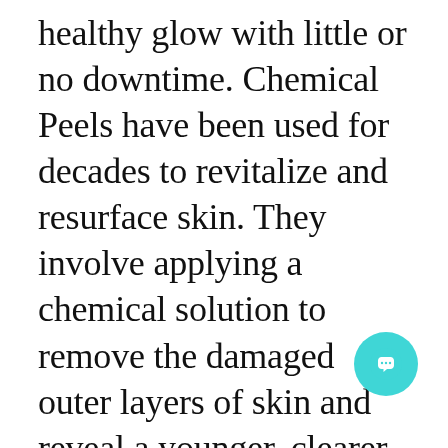healthy glow with little or no downtime. Chemical Peels have been used for decades to revitalize and resurface skin. They involve applying a chemical solution to remove the damaged outer layers of skin and reveal a younger, clearer, more radiant complexion. Chemical peels, also known as “Lunchtime Peels” are